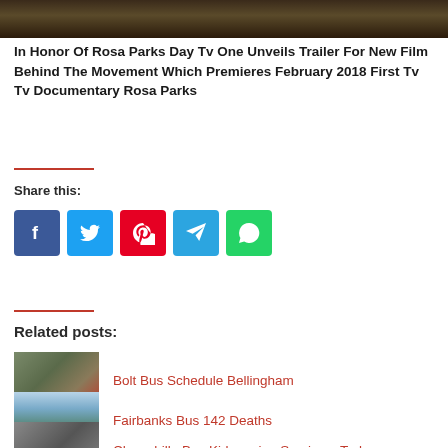[Figure (photo): Top banner image showing a dark scene]
In Honor Of Rosa Parks Day Tv One Unveils Trailer For New Film Behind The Movement Which Premieres February 2018 First Tv Tv Documentary Rosa Parks
Share this:
[Figure (infographic): Social sharing buttons: Facebook, Twitter, Pinterest, Telegram, WhatsApp]
Related posts:
Bolt Bus Schedule Bellingham
Fairbanks Bus 142 Deaths
Chowchilla Bus Kidnapping Survivors Today